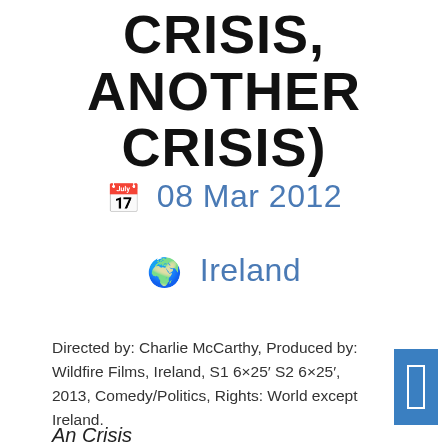CRISIS, ANOTHER CRISIS)
🗓 08 Mar 2012
🌍 Ireland
Directed by: Charlie McCarthy, Produced by: Wildfire Films, Ireland, S1 6×25′ S2 6×25′, 2013, Comedy/Politics, Rights: World except Ireland.
An Crisis